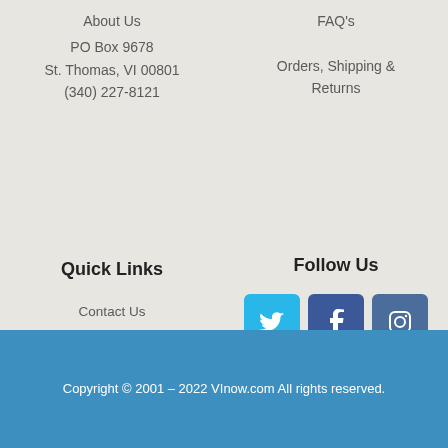About Us
PO Box 9678
St. Thomas, VI 00801
(340) 227-8121
FAQ's
Orders, Shipping & Returns
Quick Links
Follow Us
Contact Us
Privacy Policy
[Figure (infographic): Social media icons: Twitter (sky blue), Facebook (dark blue), Instagram (muted blue)]
Copyright © 2001 – 2022 VInow.com All rights reserved.